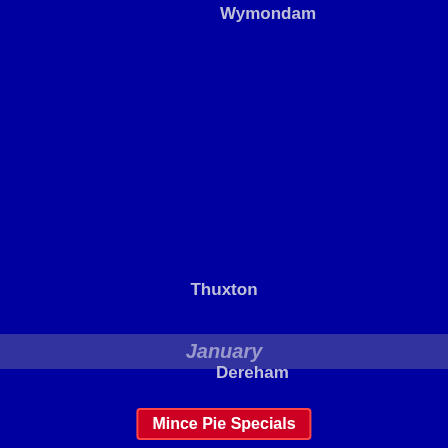Wymondam
Danemoor
Thuxton
January
Mince Pie Specials
Monday 02nd
Dereham
Dereham